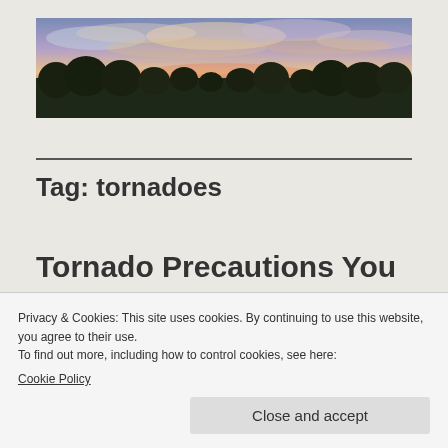[Figure (photo): Panoramic photo of a colorful sunset sky with pink, orange, and purple hues over a silhouette of trees]
Tag: tornadoes
Tornado Precautions You
Privacy & Cookies: This site uses cookies. By continuing to use this website, you agree to their use.
To find out more, including how to control cookies, see here: Cookie Policy
Close and accept